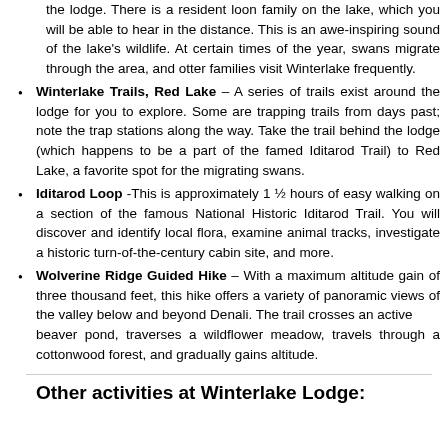the lodge. There is a resident loon family on the lake, which you will be able to hear in the distance. This is an awe-inspiring sound of the lake's wildlife. At certain times of the year, swans migrate through the area, and otter families visit Winterlake frequently.
Winterlake Trails, Red Lake – A series of trails exist around the lodge for you to explore. Some are trapping trails from days past; note the trap stations along the way. Take the trail behind the lodge (which happens to be a part of the famed Iditarod Trail) to Red Lake, a favorite spot for the migrating swans.
Iditarod Loop -This is approximately 1 ½ hours of easy walking on a section of the famous National Historic Iditarod Trail. You will discover and identify local flora, examine animal tracks, investigate a historic turn-of-the-century cabin site, and more.
Wolverine Ridge Guided Hike – With a maximum altitude gain of three thousand feet, this hike offers a variety of panoramic views of the valley below and beyond Denali. The trail crosses an active beaver pond, traverses a wildflower meadow, travels through a cottonwood forest, and gradually gains altitude.
Other activities at Winterlake Lodge: